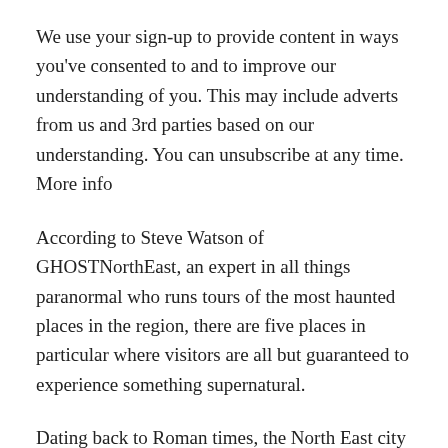We use your sign-up to provide content in ways you've consented to and to improve our understanding of you. This may include adverts from us and 3rd parties based on our understanding. You can unsubscribe at any time. More info
According to Steve Watson of GHOSTNorthEast, an expert in all things paranormal who runs tours of the most haunted places in the region, there are five places in particular where visitors are all but guaranteed to experience something supernatural.
Dating back to Roman times, the North East city has a huge history of shocking and grisly tales from centuries past which have inspired the ghostly tales that surround many of its oldest buildings.
The…